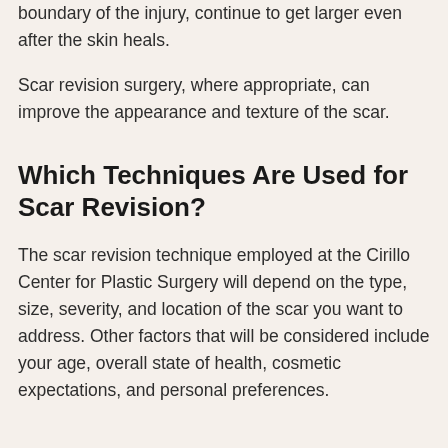boundary of the injury, continue to get larger even after the skin heals.
Scar revision surgery, where appropriate, can improve the appearance and texture of the scar.
Which Techniques Are Used for Scar Revision?
The scar revision technique employed at the Cirillo Center for Plastic Surgery will depend on the type, size, severity, and location of the scar you want to address. Other factors that will be considered include your age, overall state of health, cosmetic expectations, and personal preferences.
...